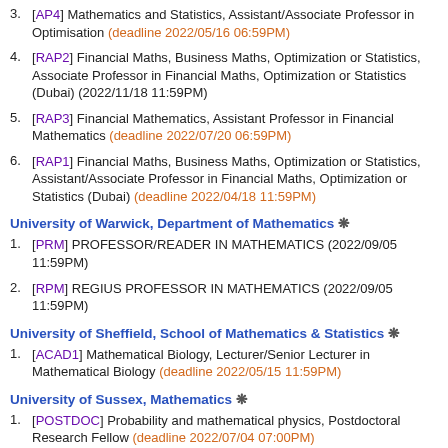3. [AP4] Mathematics and Statistics, Assistant/Associate Professor in Optimisation (deadline 2022/05/16 06:59PM)
4. [RAP2] Financial Maths, Business Maths, Optimization or Statistics, Associate Professor in Financial Maths, Optimization or Statistics (Dubai) (2022/11/18 11:59PM)
5. [RAP3] Financial Mathematics, Assistant Professor in Financial Mathematics (deadline 2022/07/20 06:59PM)
6. [RAP1] Financial Maths, Business Maths, Optimization or Statistics, Assistant/Associate Professor in Financial Maths, Optimization or Statistics (Dubai) (deadline 2022/04/18 11:59PM)
University of Warwick, Department of Mathematics *
1. [PRM] PROFESSOR/READER IN MATHEMATICS (2022/09/05 11:59PM)
2. [RPM] REGIUS PROFESSOR IN MATHEMATICS (2022/09/05 11:59PM)
University of Sheffield, School of Mathematics & Statistics *
1. [ACAD1] Mathematical Biology, Lecturer/Senior Lecturer in Mathematical Biology (deadline 2022/05/15 11:59PM)
University of Sussex, Mathematics *
1. [POSTDOC] Probability and mathematical physics, Postdoctoral Research Fellow (deadline 2022/07/04 07:00PM)